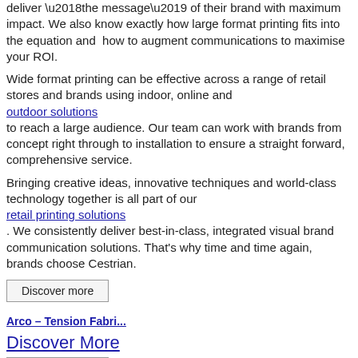deliver ‘the message’ of their brand with maximum impact. We also know exactly how large format printing fits into the equation and  how to augment communications to maximise your ROI.
Wide format printing can be effective across a range of retail stores and brands using indoor, online and outdoor solutions to reach a large audience. Our team can work with brands from concept right through to installation to ensure a straight forward, comprehensive service.
Bringing creative ideas, innovative techniques and world-class technology together is all part of our retail printing solutions. We consistently deliver best-in-class, integrated visual brand communication solutions. That’s why time and time again, brands choose Cestrian.
Discover more
Arco – Tension Fabri...
Discover More
Discover more